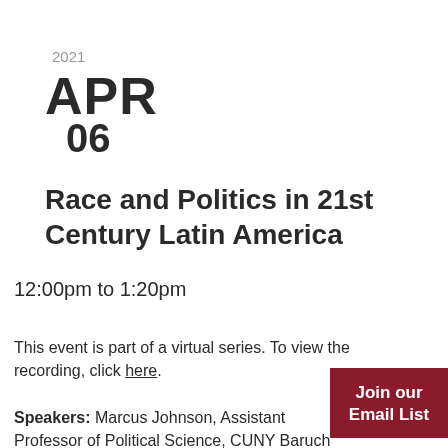2021
APR
06
Race and Politics in 21st Century Latin America
12:00pm to 1:20pm
This event is part of a virtual series. To view the recording, click here.
Join our Email List
Speakers: Marcus Johnson, Assistant Professor of Political Science, CUNY Baruch